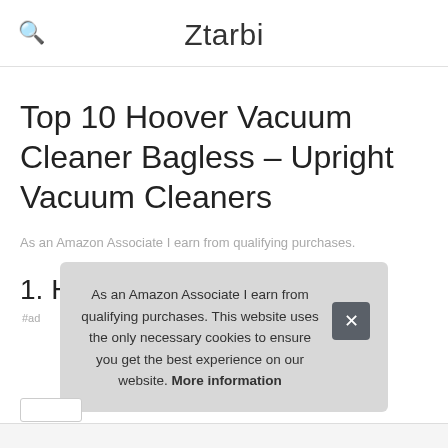Ztarbi
Top 10 Hoover Vacuum Cleaner Bagless – Upright Vacuum Cleaners
As an Amazon Associate I earn from qualifying purchases.
1. Hoover
As an Amazon Associate I earn from qualifying purchases. This website uses the only necessary cookies to ensure you get the best experience on our website. More information